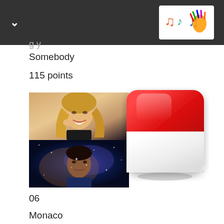Somebody
115 points
[Figure (photo): Two artist photos stacked vertically: top photo shows a blonde woman smiling, bottom photo shows a man against a galaxy/space background]
[Figure (illustration): Monaco flag as a glossy rounded square icon: top half red, bottom half white]
06
Monaco
Slimane & Vitaa
Avant toi